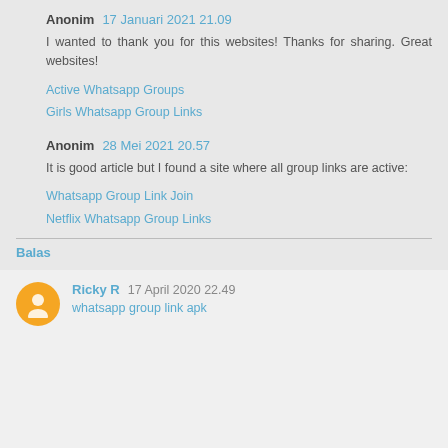Anonim 17 Januari 2021 21.09
I wanted to thank you for this websites! Thanks for sharing. Great websites!
Active Whatsapp Groups
Girls Whatsapp Group Links
Anonim 28 Mei 2021 20.57
It is good article but I found a site where all group links are active:
Whatsapp Group Link Join
Netflix Whatsapp Group Links
Balas
Ricky R 17 April 2020 22.49
whatsapp group link apk